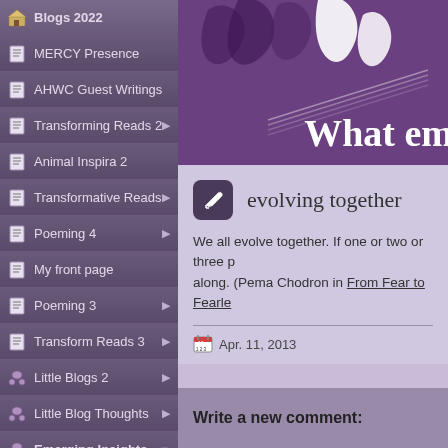Blogs 2022
MERCY Presence
AHWC Guest Writings
Transforming Reads 2
Animal Inspira 2
Transformative Reads
Poeming 4
My front page
Poeming 3
Transform Reads 3
Little Blogs 2
Little Blog Thoughts
Emerging Insights
Transformative Reads
More To Read
[Figure (illustration): Purple header banner with white maple leaf silhouettes and text 'What em...']
evolving together
We all evolve together. If one or two or three p... along. (Pema Chodron in From Fear to Fearle...
Apr. 11, 2013
Write a new comment: